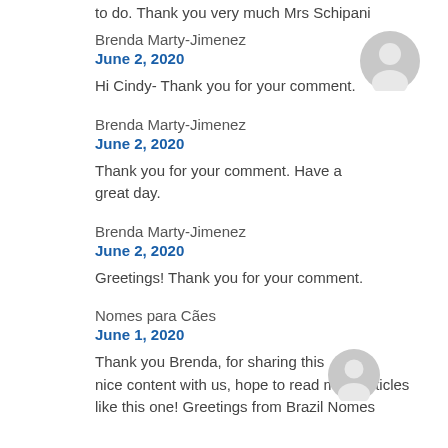to do. Thank you very much Mrs Schipani
Brenda Marty-Jimenez
June 2, 2020
Hi Cindy- Thank you for your comment.
Brenda Marty-Jimenez
June 2, 2020
Thank you for your comment. Have a great day.
Brenda Marty-Jimenez
June 2, 2020
Greetings! Thank you for your comment.
Nomes para Cães
June 1, 2020
Thank you Brenda, for sharing this nice content with us, hope to read more articles like this one! Greetings from Brazil Nomes